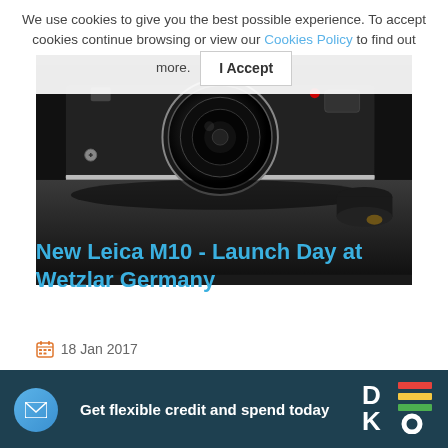We use cookies to give you the best possible experience. To accept cookies continue browsing or view our Cookies Policy to find out more. I Accept
[Figure (photo): Close-up photo of a Leica M10 camera body with lens, dark background]
New Leica M10 - Launch Day at Wetzlar Germany
18 Jan 2017
Get flexible credit and spend today
[Figure (logo): DEKO logo with colorful horizontal bars]